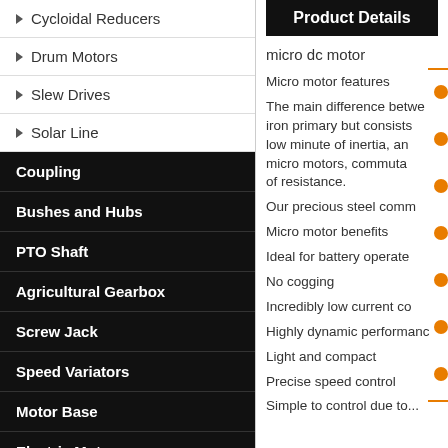Cycloidal Reducers
Drum Motors
Slew Drives
Solar Line
Coupling
Bushes and Hubs
PTO Shaft
Agricultural Gearbox
Screw Jack
Speed Variators
Motor Base
Electric Motors
Shaft Collar
Power Locks (Locking Assembly)
Product Details
micro dc motor
Micro motor features
The main difference betwe... iron primary but consists low minute of inertia, an micro motors, commuta of resistance.
Our precious steel comm
Micro motor benefits
Ideal for battery operate
No cogging
Incredibly low current co
Highly dynamic performanc
Light and compact
Precise speed control
Simple to control due to...